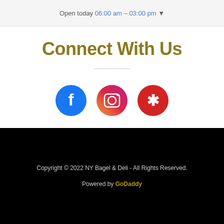Open today 06:00 am – 03:00 pm ▼
Connect With Us
[Figure (infographic): Three social media icons in a row: Facebook (blue circle with 'f'), Instagram (pink/magenta circle with camera icon), Yelp (red circle with 'y*' burst icon)]
Copyright © 2022 NY Bagel & Deli - All Rights Reserved. Powered by GoDaddy